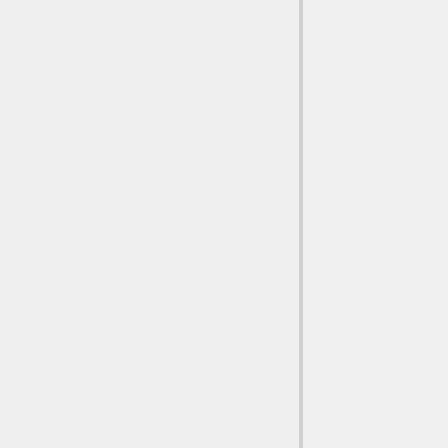review and that bearing a disclaimer stating that the information's distribution is solely for the purpose of pre-dissemination peer review (§ I.5).
Peer Review of Influential Scientific Information—Section II
Section II of the